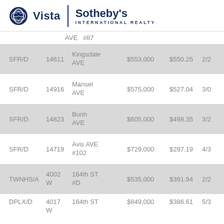[Figure (logo): Vista Sotheby's International Realty logo with globe icon]
| Type | Number | Street | Price | $/SF | Ratio |
| --- | --- | --- | --- | --- | --- |
|  |  | AVE  #87 |  |  |  |
| SFR/D | 14611 | Kingsdale AVE | $553,000 | $550.25 | 2/2 |
| SFR/D | 14916 | Mansel AVE | $575,000 | $527.04 | 3/0 |
| SFR/D | 14823 | Burin AVE | $605,000 | $498.35 | 3/2 |
| SFR/D | 14719 | Avis AVE #102 | $729,000 | $297.19 | 4/3 |
| TWNHS/A | 4002 W | 164th ST #D | $535,000 | $391.94 | 2/2 |
| DPLX/D | 4017 W | 164th ST | $849,000 | $386.61 | 5/3 |